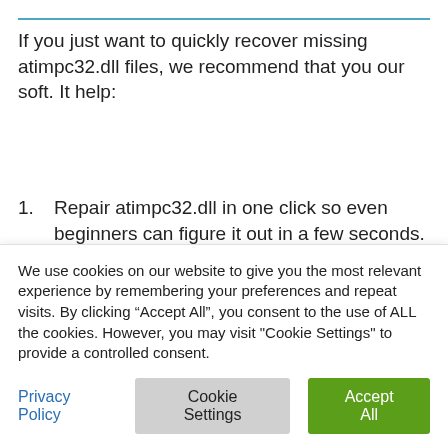If you just want to quickly recover missing atimpc32.dll files, we recommend that you our soft. It help:
Repair atimpc32.dll in one click so even beginners can figure it out in a few seconds.
Recovery of missing atimpc32.dll files
We use cookies on our website to give you the most relevant experience by remembering your preferences and repeat visits. By clicking “Accept All”, you consent to the use of ALL the cookies. However, you may visit "Cookie Settings" to provide a controlled consent.